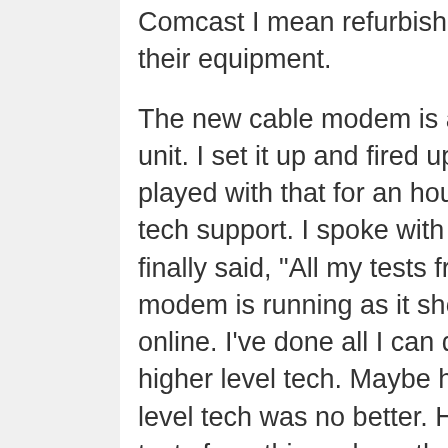Comcast I mean refurbished. They just keep recycling their equipment.
The new cable modem is a Ubee DDM3513, a Docsis 3 unit. I set it up and fired up the system. It didn't work. I played with that for an hour or so before calling Comcast tech support. I spoke with another nice young lady who finally said, "All my tests from this end indicate that the modem is running as it should. You should be able to go online. I've done all I can do. I'll connect you with a higher level tech. Maybe he can solve this." That higher level tech was no better. He ended up saying, "All my tests from this end say the modem is working, good to go. I've done all I can do. What I'd suggest now is either have a tech guy come out to your house for a paid visit, or have you call our 'pay as you go' tech support."
I declined both offers and went back to work. A bit later my computer went online successfully, but by bypassing the router. I added the router, and eventually got online through that too. Then my wife asked me, "Why isn't my Netflix working?" Back to work. I never got Netflix up, and I'm back to bypassing the router. While the Ubee modem is working, things are much slower than they were with the Docsis 2 modem. Its driving me crazy.